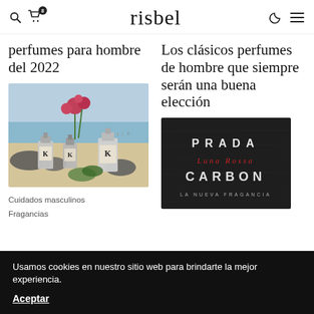risbel
perfumes para hombre del 2022
[Figure (photo): Photo of Dolce & Gabbana K perfume bottles arranged on a beach scene with flowers and rocks]
Cuidados masculinos
Fragancias
Los clásicos perfumes de hombre que siempre serán una buena elección
[Figure (photo): Dark background advertisement for Prada Luna Rossa Carbon fragrance]
Usamos cookies en nuestro sitio web para brindarte la mejor experiencia.
Aceptar